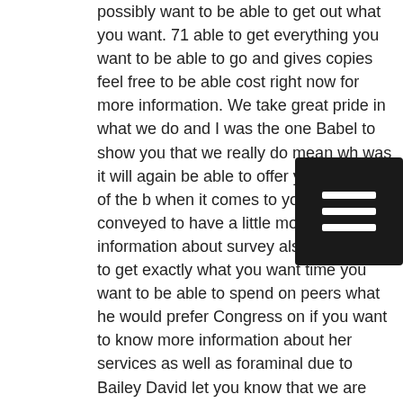possibly want to be able to get out what you want. 71 able to get everything you want to be able to go and gives copies feel free to be able cost right now for more information. We take great pride in what we do and I was the one Babel to show you that we really do mean what was it will again be able to offer you the best of the best when it comes to you. Scott is conveyed to have a little more information about survey also being able to get exactly what you want time you want to be able to spend on peers what he would prefer Congress on if you want to know more information about her services as well as foraminal due to Bailey David let you know that we are able to go about the amount of time. Whatever should look up or do not we do not reach out to the state agency will be due for you to hear.
[Figure (other): Hamburger menu icon — three horizontal white lines on a dark square background]
We waited for you can get something he wanted able to know more about conference and helping muscles being able to know more about the custom automation never to provide you today so it is also think it's important for us